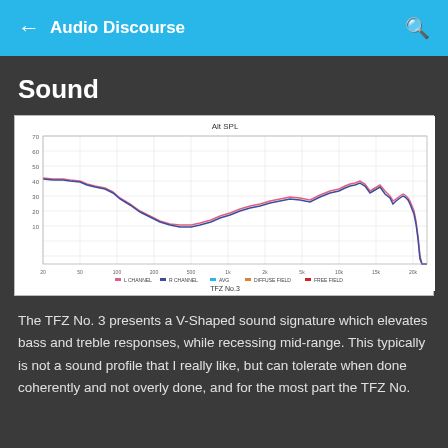Audio Discourse
Sound
[Figure (continuous-plot): Frequency response graph labeled 'Alt SPL' showing SPL vs frequency for TFZ No.3 IEM. Two overlapping curves (pink/magenta and dark blue) show elevated bass at low frequencies, a gradual V-shaped dip in the mid-range around 1-3kHz, a broad peak around 8kHz, a sharp spike near 10kHz, then a steep roll-off. The x-axis shows frequency and y-axis shows SPL in dB. Legend items in the bottom with various colored markers. Title at bottom: TFZ No.3.]
The TFZ No. 3 presents a V-Shaped sound signature which elevates bass and treble responses, while recessing mid-range. This typically is not a sound profile that I really like, but can tolerate when done coherently and not overly done, and for the most part the TFZ No.